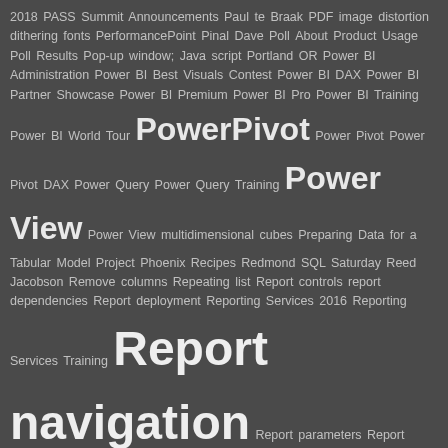[Figure (infographic): Tag cloud on dark gray background featuring various terms related to SQL, Power BI, and data topics. Terms appear in varying font sizes indicating frequency/importance. Largest terms include: PowerPivot, Power View, Report navigation, Reports for MDX, Self-service reporting, SolidQ, SolidQ Journal, SQL Saturday.]